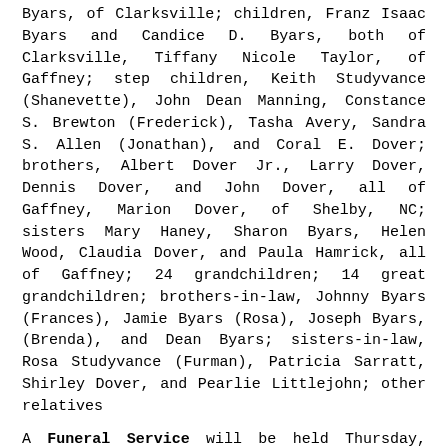Byars, of Clarksville; children, Franz Isaac Byars and Candice D. Byars, both of Clarksville, Tiffany Nicole Taylor, of Gaffney; step children, Keith Studyvance (Shanevette), John Dean Manning, Constance S. Brewton (Frederick), Tasha Avery, Sandra S. Allen (Jonathan), and Coral E. Dover; brothers, Albert Dover Jr., Larry Dover, Dennis Dover, and John Dover, all of Gaffney, Marion Dover, of Shelby, NC; sisters Mary Haney, Sharon Byars, Helen Wood, Claudia Dover, and Paula Hamrick, all of Gaffney; 24 grandchildren; 14 great grandchildren; brothers-in-law, Johnny Byars (Frances), Jamie Byars (Rosa), Joseph Byars, (Brenda), and Dean Byars; sisters-in-law, Rosa Studyvance (Furman), Patricia Sarratt, Shirley Dover, and Pearlie Littlejohn; other relatives
A Funeral Service will be held Thursday, December 16th, 2:00 p.m., in The Gilmore Mortuary Chapel with Brother Brian Phifer officiating. The Family is at the home of her brother, Larry Dover, 1435 Leadmine Road.